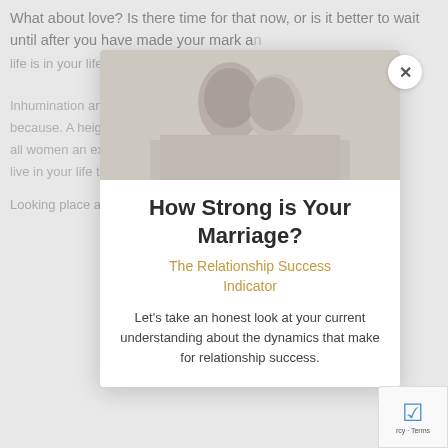What about love? Is there time for that now, or is it better to wait until after you have made your mark an life today?
[Figure (photo): A faded/blurred photo of a couple embracing, visible behind the modal dialog as background content]
How Strong is Your Marriage?
The Relationship Success Indicator
Let's take an honest look at your current understanding about the dynamics that make for relationship success.